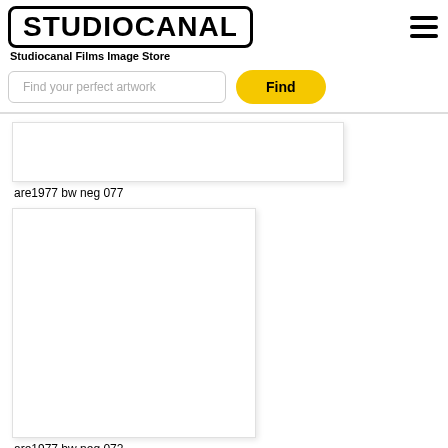[Figure (logo): Studiocanal logo in bold black text with rounded rectangle border]
Studiocanal Films Image Store
Find your perfect artwork
Find
[Figure (photo): White/blank image placeholder for are1977 bw neg 077]
are1977 bw neg 077
[Figure (photo): White/blank image placeholder for are1977 bw neg 072]
are1977 bw neg 072